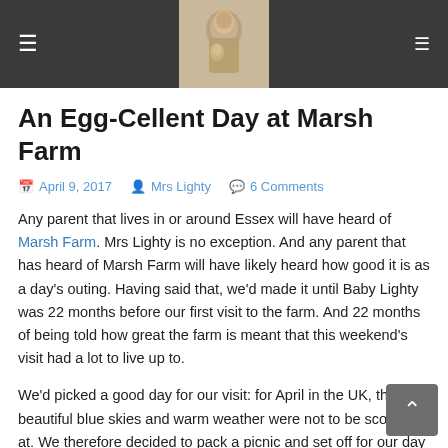≡  [site logo image]  ☰
An Egg-Cellent Day at Marsh Farm
April 9, 2017   Mrs Lighty   6 Comments
Any parent that lives in or around Essex will have heard of Marsh Farm. Mrs Lighty is no exception. And any parent that has heard of Marsh Farm will have likely heard how good it is as a day's outing. Having said that, we'd made it until Baby Lighty was 22 months before our first visit to the farm. And 22 months of being told how great the farm is meant that this weekend's visit had a lot to live up to.
We'd picked a good day for our visit: for April in the UK, the beautiful blue skies and warm weather were not to be scoffed at. We therefore decided to pack a picnic and set off for our day of fun. And our first impression on arrival was that this was going